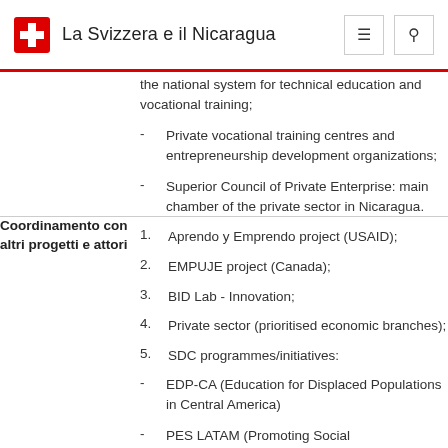La Svizzera e il Nicaragua
the national system for technical education and vocational training;
Private vocational training centres and entrepreneurship development organizations;
Superior Council of Private Enterprise: main chamber of the private sector in Nicaragua.
Coordinamento con altri progetti e attori
1. Aprendo y Emprendo project (USAID);
2. EMPUJE project (Canada);
3. BID Lab - Innovation;
4. Private sector (prioritised economic branches);
5. SDC programmes/initiatives:
- EDP-CA (Education for Displaced Populations in Central America)
- PES LATAM (Promoting Social Entrepreneurship in Latin America and the Caribbean)
- Multi-donor fund TVET